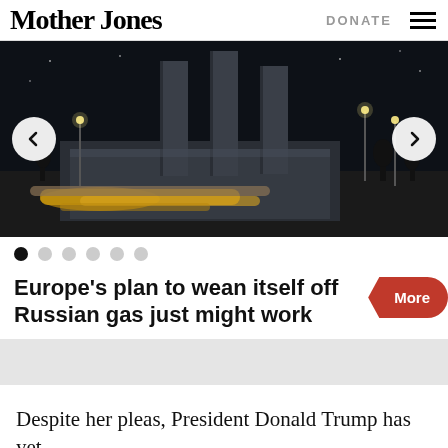Mother Jones
[Figure (photo): Industrial gas facility at night with tall chimneys and pipeline infrastructure, dark sky background]
Europe's plan to wean itself off Russian gas just might work
Despite her pleas, President Donald Trump has yet